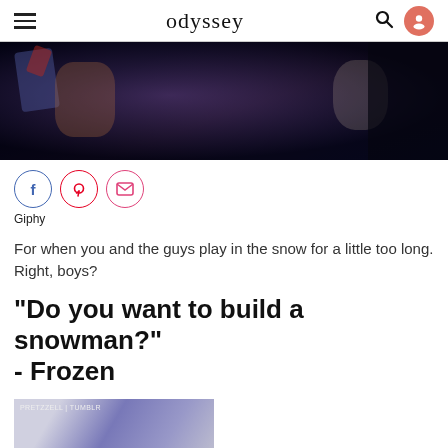odyssey
[Figure (photo): Dark scene with figures, appears to be from a movie or GIF, dark tones with blue and red highlights]
[Figure (infographic): Social share buttons: Facebook (f), Pinterest (p), Email (envelope icon)]
Giphy
For when you and the guys play in the snow for a little too long. Right, boys?
"Do you want to build a snowman?" - Frozen
[Figure (photo): Partial image at bottom, appears to show a figure with text 'PRETZZELL | TUMBLR' watermark, blue and white tones]